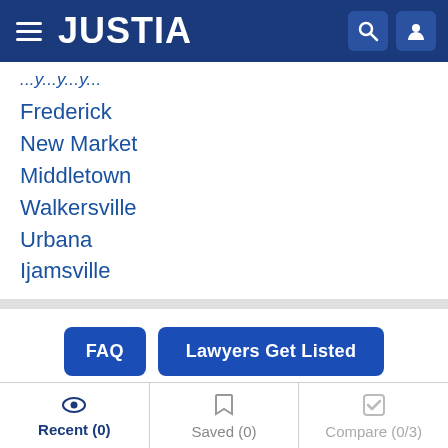JUSTIA
...y...y...y...
Frederick
New Market
Middletown
Walkersville
Urbana
Ijamsville
FAQ   Lawyers Get Listed
Frederick County Products Liability Legal Aid &
Recent (0)   Saved (0)   Compare (0/3)